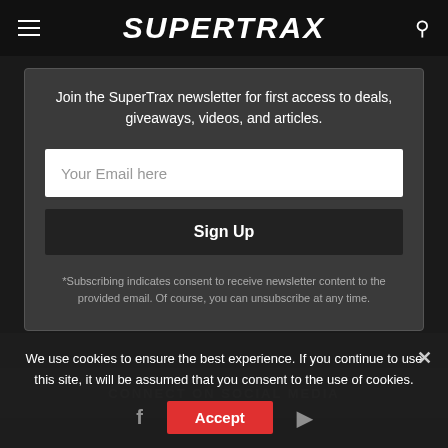SUPERTRAX
Join the SuperTrax newsletter for first access to deals, giveaways, videos, and articles.
Your Email here
Sign Up
*Subscribing indicates consent to receive newsletter content to the provided email. Of course, you can unsubscribe at any time.
CONNECT ON SOCIAL MEDIA
We use cookies to ensure the best experience. If you continue to use this site, it will be assumed that you consent to the use of cookies.
Accept